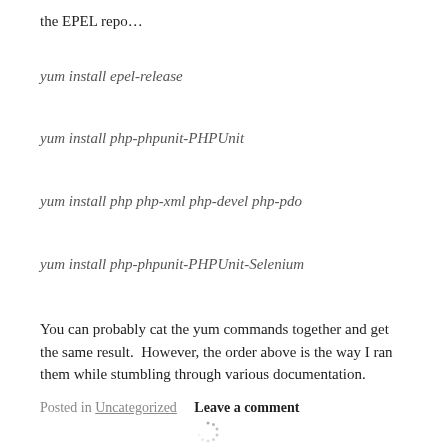the EPEL repo…
yum install epel-release
yum install php-phpunit-PHPUnit
yum install php php-xml php-devel php-pdo
yum install php-phpunit-PHPUnit-Selenium
You can probably cat the yum commands together and get the same result.  However, the order above is the way I ran them while stumbling through various documentation.
Posted in Uncategorized   Leave a comment